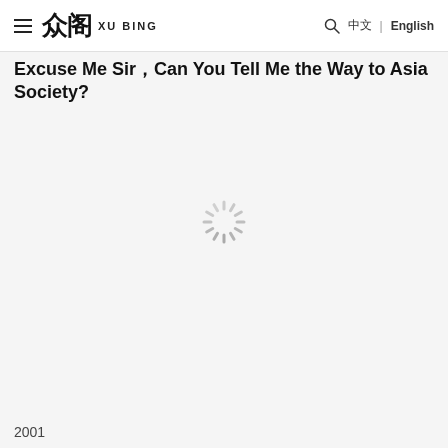≡ 众阁 XU BING | 中文 | English
Excuse Me Sir，Can You Tell Me the Way to Asia Society?
[Figure (other): Loading spinner / activity indicator graphic in light gray]
2001